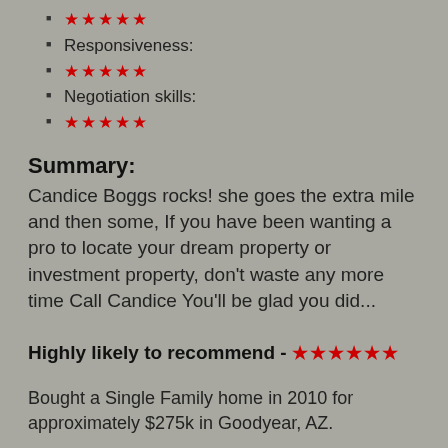★★★★★
Responsiveness:
★★★★★
Negotiation skills:
★★★★★
Summary:
Candice Boggs rocks! she goes the extra mile and then some, If you have been wanting a pro to locate your dream property or investment property, don't waste any more time Call Candice You'll be glad you did...
Highly likely to recommend - ★★★★★★
Bought a Single Family home in 2010 for approximately $275k in Goodyear, AZ.